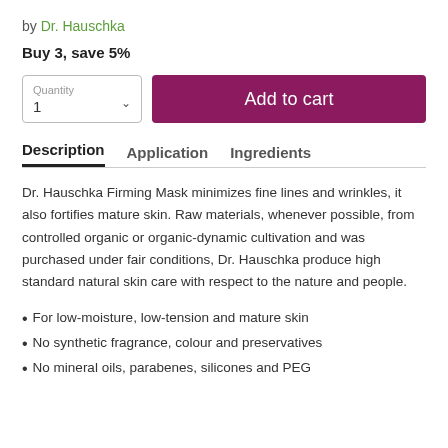by Dr. Hauschka
Buy 3, save 5%
Quantity
1
Add to cart
Description  Application  Ingredients
Dr. Hauschka Firming Mask minimizes fine lines and wrinkles, it also fortifies mature skin. Raw materials, whenever possible, from controlled organic or organic-dynamic cultivation and was purchased under fair conditions, Dr. Hauschka produce high standard natural skin care with respect to the nature and people.
For low-moisture, low-tension and mature skin
No synthetic fragrance, colour and preservatives
No mineral oils, parabenes, silicones and PEG